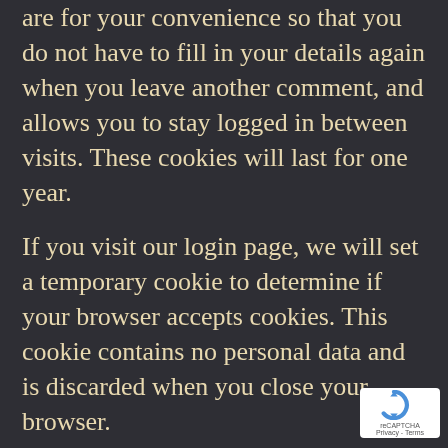are for your convenience so that you do not have to fill in your details again when you leave another comment, and allows you to stay logged in between visits. These cookies will last for one year.
If you visit our login page, we will set a temporary cookie to determine if your browser accepts cookies. This cookie contains no personal data and is discarded when you close your browser.
When you log in, we will also set up several cookies to save your login information and your screen display choices. Login cookies last for two days, and screen options cookies...